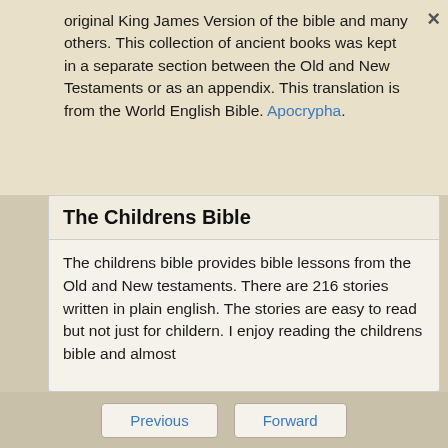original King James Version of the bible and many others. This collection of ancient books was kept in a separate section between the Old and New Testaments or as an appendix. This translation is from the World English Bible. Apocrypha.
The Childrens Bible
The childrens bible provides bible lessons from the Old and New testaments. There are 216 stories written in plain english. The stories are easy to read but not just for childern. I enjoy reading the childrens bible and almost
Previous   Forward